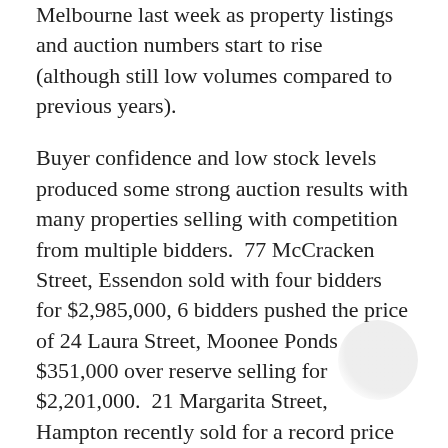Melbourne last week as property listings and auction numbers start to rise (although still low volumes compared to previous years).
Buyer confidence and low stock levels produced some strong auction results with many properties selling with competition from multiple bidders.  77 McCracken Street, Essendon sold with four bidders for $2,985,000, 6 bidders pushed the price of 24 Laura Street, Moonee Ponds $351,000 over reserve selling for $2,201,000.  21 Margarita Street, Hampton recently sold for a record price of $5,950,000. Just to name a few.
But what has really got me thinking as to where is this market at, is the sale of 12 Hammerdale Ave, St